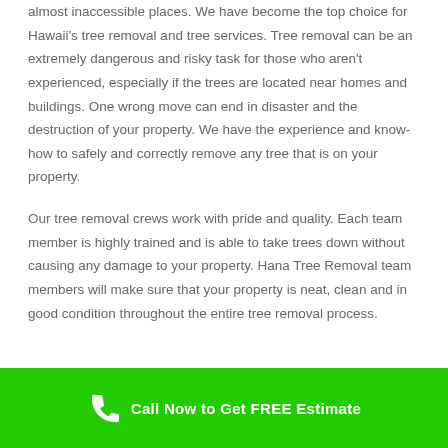almost inaccessible places. We have become the top choice for Hawaii's tree removal and tree services. Tree removal can be an extremely dangerous and risky task for those who aren't experienced, especially if the trees are located near homes and buildings. One wrong move can end in disaster and the destruction of your property. We have the experience and know-how to safely and correctly remove any tree that is on your property.
Our tree removal crews work with pride and quality. Each team member is highly trained and is able to take trees down without causing any damage to your property. Hana Tree Removal team members will make sure that your property is neat, clean and in good condition throughout the entire tree removal process.
Call Now to Get FREE Estimate